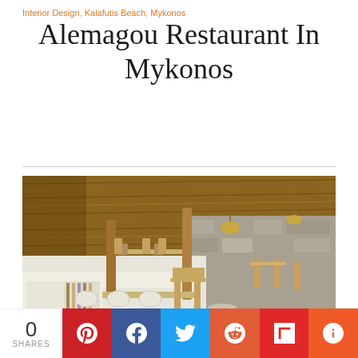Interior Design, Kalafutis Beach, Mykonos
Alemagou Restaurant In Mykonos
[Figure (photo): Interior of Alemagou Restaurant in Mykonos showing thatched roof ceiling, wooden tables and chairs, stone walls, and white-washed surfaces with dappled sunlight]
0 SHARES
[Figure (infographic): Social sharing bar with buttons for Pinterest, Facebook, Twitter, Reddit, Flipboard, and More]